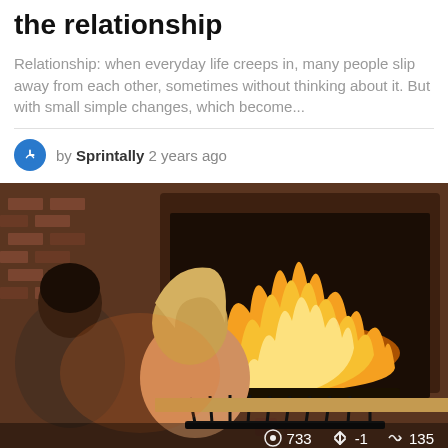the relationship
Relationship: when everyday life creeps in, many people slip away from each other, sometimes without thinking about it. But with small simple changes, which become...
by Sprintally 2 years ago
[Figure (photo): Couple sitting in front of a fireplace with flames burning, woman holding a mug, viewed from behind]
733  -1  135
How to find a good wife: 30